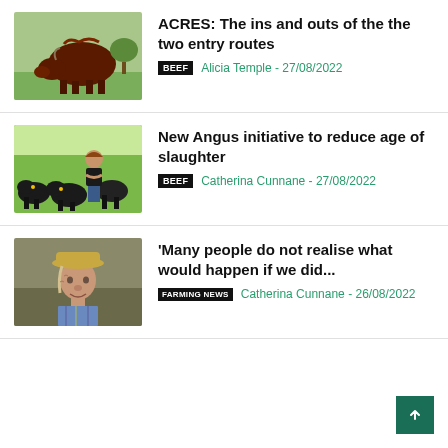[Figure (photo): Red/brown bull standing in a green field]
ACRES: The ins and outs of the the two entry routes
BEEF  Alicia Temple - 27/08/2022
[Figure (photo): Woman standing with arms crossed in front of black Angus cattle in a green field]
New Angus initiative to reduce age of slaughter
BEEF  Catherina Cunnane - 27/08/2022
[Figure (photo): Elderly man wearing a straw hat, outdoors with blurred background]
'Many people do not realise what would happen if we did...
FARMING NEWS  Catherina Cunnane - 26/08/2022